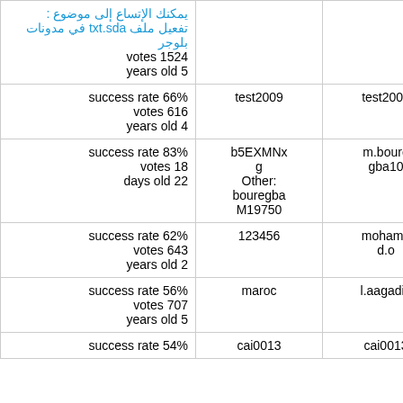| stats | username/info | username |
| --- | --- | --- |
| votes 1524
years old 5 |  |  |
| success rate 66%
votes 616
years old 4 | test2009 | test2009 |
| success rate 83%
votes 18
days old 22 | b5EXMNxg
Other: bouregbaM19750 | m.bouregba10 |
| success rate 62%
votes 643
years old 2 | 123456 | mohamed.o |
| success rate 56%
votes 707
years old 5 | maroc | l.aagadi3 |
| success rate 54% | cai0013 | cai0013 |